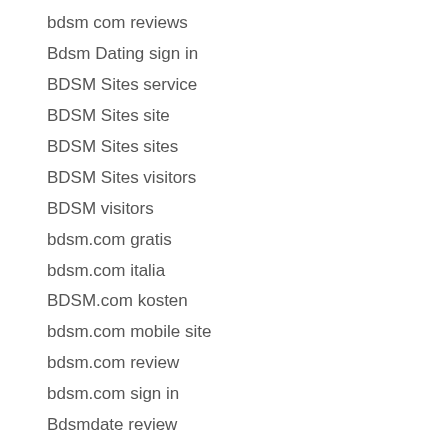bdsm com reviews
Bdsm Dating sign in
BDSM Sites service
BDSM Sites site
BDSM Sites sites
BDSM Sites visitors
BDSM visitors
bdsm.com gratis
bdsm.com italia
BDSM.com kosten
bdsm.com mobile site
bdsm.com review
bdsm.com sign in
Bdsmdate review
Be2 alternative